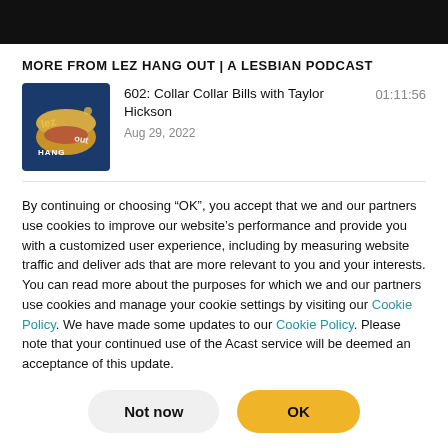MORE FROM LEZ HANG OUT | A LESBIAN PODCAST
[Figure (illustration): Podcast cover art for Lez Hang Out showing a cartoon hot dog bun with 'lez', 'HANG', and 'out' text on a dark blue background]
602: Collar Collar Bills with Taylor Hickson
Aug 29, 2022
01:11:56
By continuing or choosing “OK”, you accept that we and our partners use cookies to improve our website’s performance and provide you with a customized user experience, including by measuring website traffic and deliver ads that are more relevant to you and your interests. You can read more about the purposes for which we and our partners use cookies and manage your cookie settings by visiting our Cookie Policy. We have made some updates to our Cookie Policy. Please note that your continued use of the Acast service will be deemed an acceptance of this update.
Not now
OK